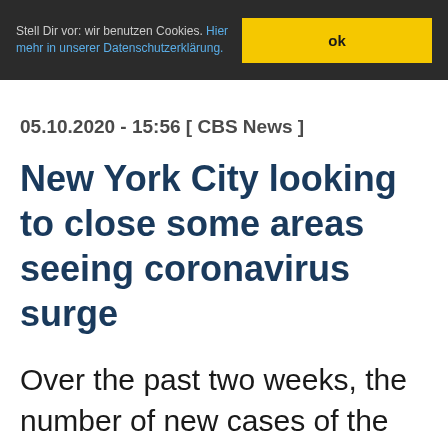Stell Dir vor: wir benutzen Cookies. Hier mehr in unserer Datenschutzerklärung. ok
05.10.2020 - 15:56 [ CBS News ]
New York City looking to close some areas seeing coronavirus surge
Over the past two weeks, the number of new cases of the virus has been rising in pockets of the city